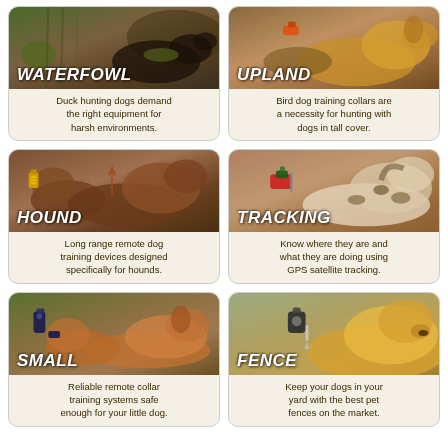[Figure (infographic): Six product category cards arranged in a 2x3 grid. Each card shows a photo of dogs with category label overlaid, and descriptive text below. Categories: WATERFOWL, UPLAND, HOUND, TRACKING, SMALL, FENCE.]
WATERFOWL - Duck hunting dogs demand the right equipment for harsh environments.
UPLAND - Bird dog training collars are a necessity for hunting with dogs in tall cover.
HOUND - Long range remote dog training devices designed specifically for hounds.
TRACKING - Know where they are and what they are doing using GPS satellite tracking.
SMALL - Reliable remote collar training systems safe enough for your little dog.
FENCE - Keep your dogs in your yard with the best pet fences on the market.